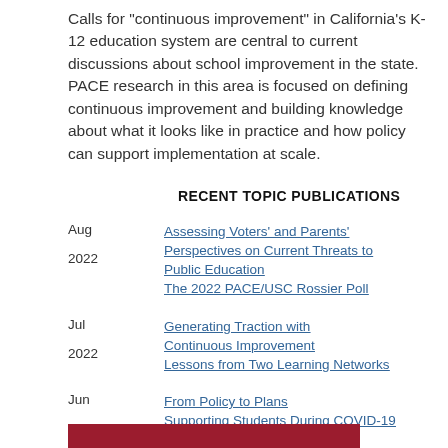Calls for "continuous improvement" in California's K-12 education system are central to current discussions about school improvement in the state. PACE research in this area is focused on defining continuous improvement and building knowledge about what it looks like in practice and how policy can support implementation at scale.
RECENT TOPIC PUBLICATIONS
Aug 2022 — Assessing Voters' and Parents' Perspectives on Current Threats to Public Education The 2022 PACE/USC Rossier Poll
Jul 2022 — Generating Traction with Continuous Improvement Lessons from Two Learning Networks
Jun 2022 — From Policy to Plans Supporting Students During COVID-19
[Figure (other): Dark red/crimson colored bar at the bottom of the page]